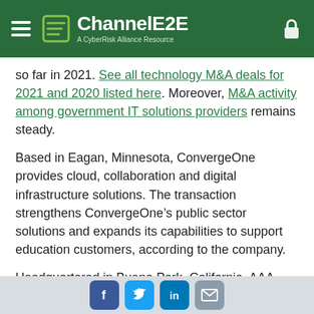ChannelE2E — A CyberRisk Alliance Resource
so far in 2021. See all technology M&A deals for 2021 and 2020 listed here. Moreover, M&A activity among government IT solutions providers remains steady.
Based in Eagan, Minnesota, ConvergeOne provides cloud, collaboration and digital infrastructure solutions. The transaction strengthens ConvergeOne’s public sector solutions and expands its capabilities to support education customers, according to the company.
Headquartered in Buena Park, California, AAA Network Solutions has delivered education-focused solutions since 2009. The company’s expertise is in providing solutions to K-12 schools and in e-rate funding – a program that provides discounts to assist schools and
Social share buttons: Facebook, Twitter, LinkedIn, Email